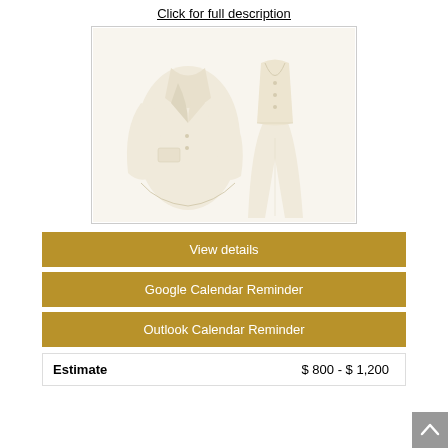Click for full description
[Figure (photo): Two cream/off-white garments: a blazer jacket on the left and a vest with matching trousers on the right, displayed flat on a white background.]
View details
Google Calendar Reminder
Outlook Calendar Reminder
| Estimate | $ 800 - $ 1,200 |
| --- | --- |